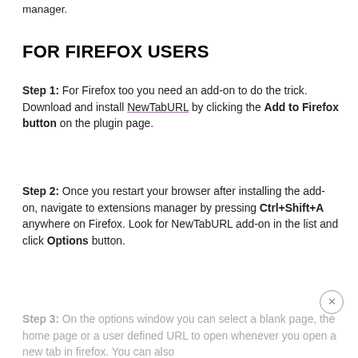manager.
FOR FIREFOX USERS
Step 1: For Firefox too you need an add-on to do the trick. Download and install NewTabURL by clicking the Add to Firefox button on the plugin page.
Step 2: Once you restart your browser after installing the add-on, navigate to extensions manager by pressing Ctrl+Shift+A anywhere on Firefox. Look for NewTabURL add-on in the list and click Options button.
Step 3: On the options window you can select a blank page, the home page or a user defined URL to open whenever you open a new tab in firefox. You can also